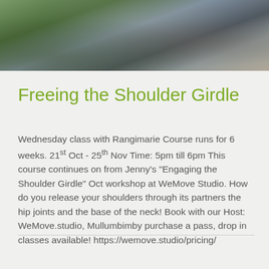[Figure (photo): Photo of people standing, partially cropped at top showing torsos and legs with plants in background]
Freeing the Shoulder Girdle
Wednesday class with Rangimarie Course runs for 6 weeks. 21st Oct - 25th Nov Time: 5pm till 6pm This course continues on from Jenny's "Engaging the Shoulder Girdle" Oct workshop at WeMove Studio. How do you release your shoulders through its partners the hip joints and the base of the neck! Book with our Host: WeMove.studio, Mullumbimby purchase a pass, drop in classes available! https://wemove.studio/pricing/